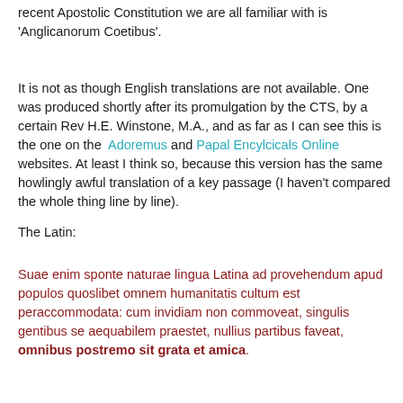recent Apostolic Constitution we are all familiar with is 'Anglicanorum Coetibus'.
It is not as though English translations are not available. One was produced shortly after its promulgation by the CTS, by a certain Rev H.E. Winstone, M.A., and as far as I can see this is the one on the  Adoremus and Papal Encylcicals Online websites. At least I think so, because this version has the same howlingly awful translation of a key passage (I haven't compared the whole thing line by line).
The Latin:
Suae enim sponte naturae lingua Latina ad provehendum apud populos quoslibet omnem humanitatis cultum est peraccommodata: cum invidiam non commoveat, singulis gentibus se aequabilem praestet, nullius partibus faveat, omnibus postremo sit grata et amica.